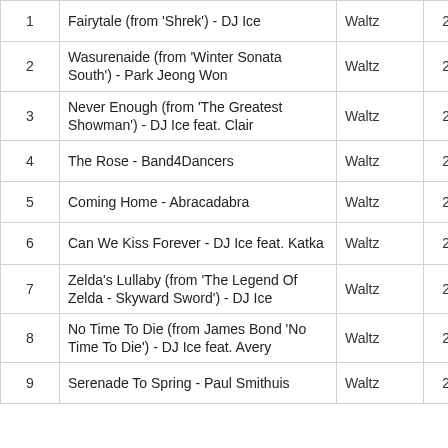| # | Title | Style | BPM | Play |
| --- | --- | --- | --- | --- |
| 1 | Fairytale (from 'Shrek') - DJ Ice | Waltz | 29 | ▶ |
| 2 | Wasurenaide (from 'Winter Sonata South') - Park Jeong Won | Waltz | 29 | ▶ |
| 3 | Never Enough (from 'The Greatest Showman') - DJ Ice feat. Clair | Waltz | 29 | ▶ |
| 4 | The Rose - Band4Dancers | Waltz | 29 | ▶ |
| 5 | Coming Home - Abracadabra | Waltz | 29 | ▶ |
| 6 | Can We Kiss Forever - DJ Ice feat. Katka | Waltz | 29 | ▶ |
| 7 | Zelda's Lullaby (from 'The Legend Of Zelda - Skyward Sword') - DJ Ice | Waltz | 29 | ▶ |
| 8 | No Time To Die (from James Bond 'No Time To Die') - DJ Ice feat. Avery | Waltz | 28 | ▶ |
| 9 | Serenade To Spring - Paul Smithuis | Waltz | 29 | ▶ |